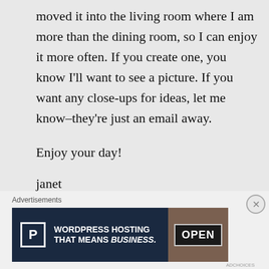moved it into the living room where I am more than the dining room, so I can enjoy it more often. If you create one, you know I'll want to see a picture. If you want any close-ups for ideas, let me know–they're just an email away.
Enjoy your day!
janet
★ Like
Advertisements
[Figure (screenshot): WordPress Hosting advertisement banner with 'P' logo box, text 'WORDPRESS HOSTING THAT MEANS BUSINESS.' and an image of an OPEN sign on the right side.]